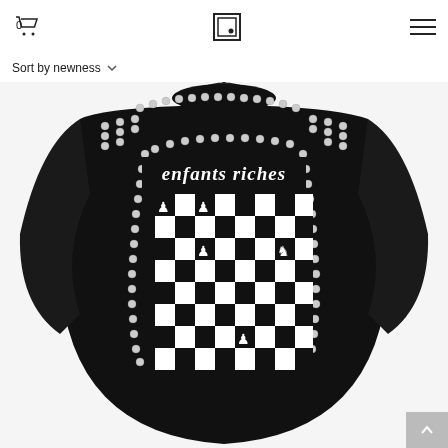Cart 0 | Logo | Hamburger menu
Sort by newness
[Figure (photo): Back view of a black studded leather biker jacket with 'enfants riches' gothic text and a chess board pattern on the back, covered in silver dome studs along the collar, shoulders and border. Jacket is hanging on a hanger against a white background.]